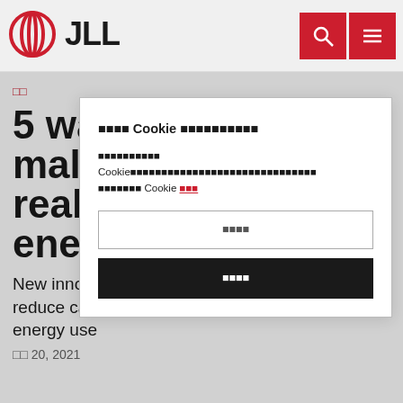JLL logo and navigation header
□□
5 wa
mal
real
ene
New innovations are helping to reduce carbon emissions and cut energy use
□□ 20, 2021
[Figure (screenshot): Cookie consent modal dialog with title showing cookie notice in CJK characters, body text describing cookie usage policy with a link, a secondary button and a primary dark accept button]
□□□□ Cookie □□□□□□□□□□
□□□□□□□□□□ Cookie□□□□□□□□□□□□□□□□□□□□□□□□□□□□□□□ □□□□□□□ Cookie □□□
□□□□
□□□□